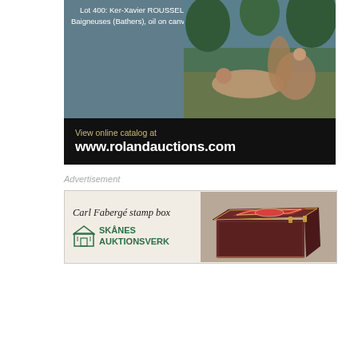[Figure (illustration): Roland Auctions advertisement banner showing a painting of bathers (Ker-Xavier Roussel) with text 'Lot 400: Ker-Xavier ROUSSEL Baigneuses (Bathers), oil on canvas' on a slate blue background, and a black bar below with 'View online catalog at www.rolandauctions.com']
Advertisement
[Figure (illustration): Skånes Auktionsverk advertisement showing a Carl Fabergé stamp box — a dark wood decorative box with ornate red enamel lid panel, photographed at an angle. Text reads 'Carl Fabergé stamp box' and 'SKÅNES AUKTIONSVERK' with logo.]